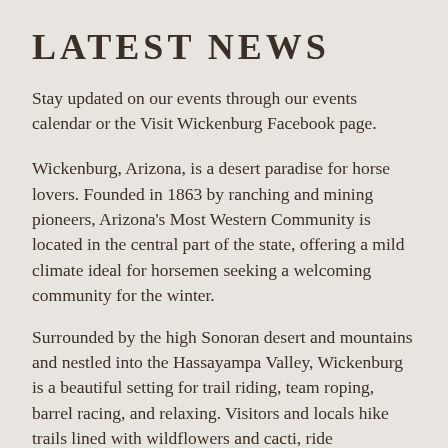LATEST NEWS
Stay updated on our events through our events calendar or the Visit Wickenburg Facebook page.
Wickenburg, Arizona, is a desert paradise for horse lovers. Founded in 1863 by ranching and mining pioneers, Arizona's Most Western Community is located in the central part of the state, offering a mild climate ideal for horsemen seeking a welcoming community for the winter.
Surrounded by the high Sonoran desert and mountains and nestled into the Hassayampa Valley, Wickenburg is a beautiful setting for trail riding, team roping, barrel racing, and relaxing. Visitors and locals hike trails lined with wildflowers and cacti, ride